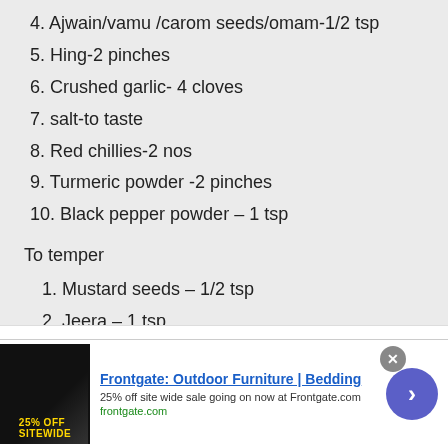4. Ajwain/vamu /carom seeds/omam-1/2 tsp
5. Hing-2 pinches
6. Crushed garlic- 4 cloves
7. salt-to taste
8. Red chillies-2 nos
9. Turmeric powder -2 pinches
10. Black pepper powder – 1 tsp
To temper
1. Mustard seeds – 1/2 tsp
2. Jeera – 1 tsp
3. Curry leaves – few
Coriander leaves – to garnish.
METHOD